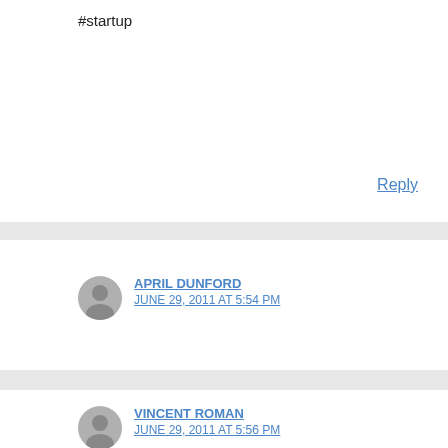#startup
Reply
APRIL DUNFORD
JUNE 29, 2011 AT 5:54 PM
Blog post: a Startup Launch Marketing framework http://t.co/i8YkhEp #startup
Reply
VINCENT ROMAN
JUNE 29, 2011 AT 5:56 PM